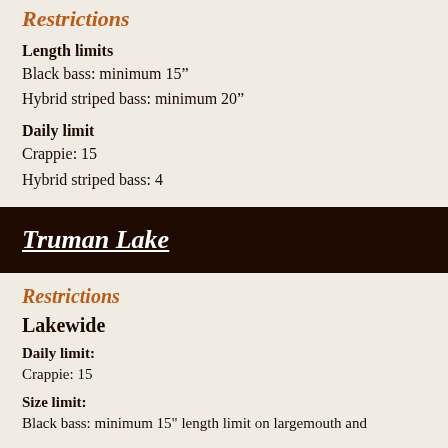Restrictions
Length limits
Black bass: minimum 15”
Hybrid striped bass: minimum 20”
Daily limit
Crappie: 15
Hybrid striped bass: 4
Truman Lake
Restrictions
Lakewide
Daily limit:
Crappie: 15
Size limit:
Black bass: minimum 15" length limit on largemouth and